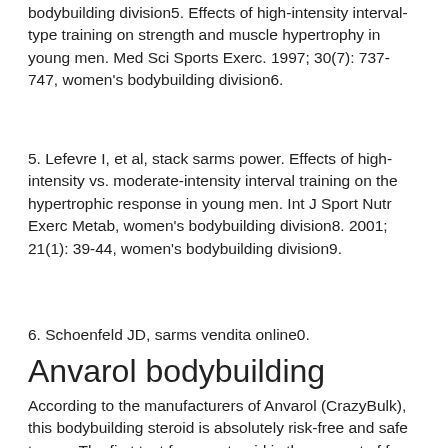bodybuilding division5. Effects of high-intensity interval-type training on strength and muscle hypertrophy in young men. Med Sci Sports Exerc. 1997; 30(7): 737-747, women's bodybuilding division6.
5. Lefevre I, et al, stack sarms power. Effects of high-intensity vs. moderate-intensity interval training on the hypertrophic response in young men. Int J Sport Nutr Exerc Metab, women's bodybuilding division8. 2001; 21(1): 39-44, women's bodybuilding division9.
6. Schoenfeld JD, sarms vendita online0.
Anvarol bodybuilding
According to the manufacturers of Anvarol (CrazyBulk), this bodybuilding steroid is absolutely risk-free and safe to use. The first test for any steroid is the amount of free testosterone in the steroid. If Anvil/CrazyBulk